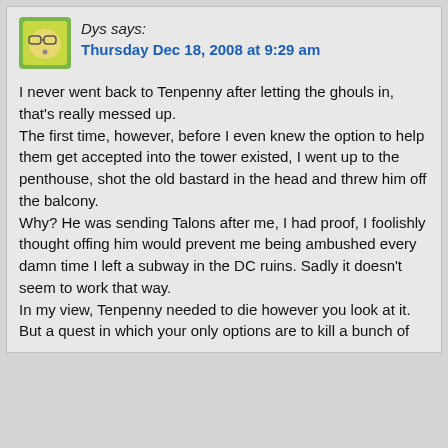[Figure (illustration): Small square avatar icon showing a cartoon face with glasses on a green/yellow background]
Dys says:
Thursday Dec 18, 2008 at 9:29 am
I never went back to Tenpenny after letting the ghouls in, that's really messed up.
The first time, however, before I even knew the option to help them get accepted into the tower existed, I went up to the penthouse, shot the old bastard in the head and threw him off the balcony.
Why? He was sending Talons after me, I had proof, I foolishly thought offing him would prevent me being ambushed every damn time I left a subway in the DC ruins. Sadly it doesn't seem to work that way.
In my view, Tenpenny needed to die however you look at it. But a quest in which your only options are to kill a bunch of